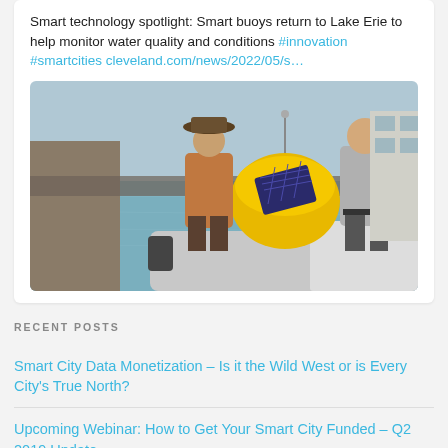Smart technology spotlight: Smart buoys return to Lake Erie to help monitor water quality and conditions #innovation #smartcities cleveland.com/news/2022/05/s…
[Figure (photo): Two people on a boat working with a yellow buoy equipped with a solar panel, set against a marina/harbor background with blue water.]
RECENT POSTS
Smart City Data Monetization – Is it the Wild West or is Every City's True North?
Upcoming Webinar: How to Get Your Smart City Funded – Q2 2019 Update
Recap: Building Strong Smart City